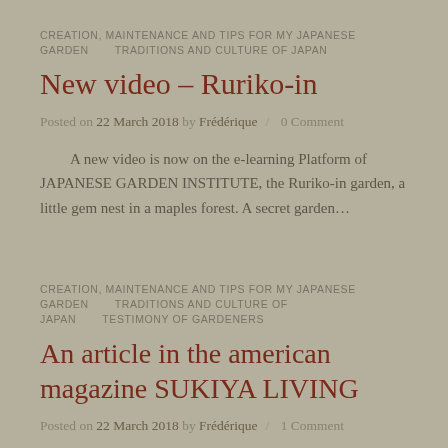CREATION, MAINTENANCE AND TIPS FOR MY JAPANESE GARDEN   TRADITIONS AND CULTURE OF JAPAN
New video – Ruriko-in
Posted on 22 March 2018 by Frédérique   0 Comment
A new video is now on the e-learning Platform of JAPANESE GARDEN INSTITUTE, the Ruriko-in garden, a little gem nest in a maples forest. A secret garden…
CREATION, MAINTENANCE AND TIPS FOR MY JAPANESE GARDEN   TRADITIONS AND CULTURE OF JAPAN   TESTIMONY OF GARDENERS
An article in the american magazine SUKIYA LIVING
Posted on 22 March 2018 by Frédérique   1 Comment